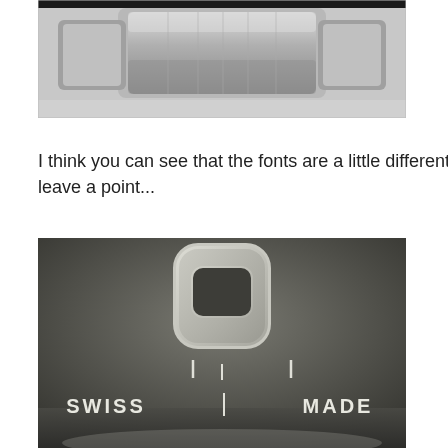[Figure (photo): Close-up photo of a metallic watch bracelet/band links showing polished and brushed steel surfaces]
I think you can see that the fonts are a little different, but leave a point...
[Figure (photo): Close-up macro photo of a watch dial face showing a logo mark (rounded rectangle symbol) and the text 'SWISS MADE' with tick marks, on a dark gray/charcoal background]